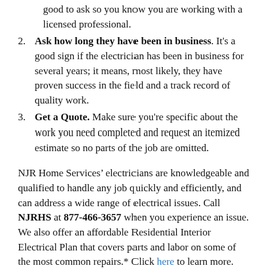good to ask so you know you are working with a licensed professional.
2. Ask how long they have been in business. It's a good sign if the electrician has been in business for several years; it means, most likely, they have proven success in the field and a track record of quality work.
3. Get a Quote. Make sure you're specific about the work you need completed and request an itemized estimate so no parts of the job are omitted.
NJR Home Services' electricians are knowledgeable and qualified to handle any job quickly and efficiently, and can address a wide range of electrical issues. Call NJRHS at 877-466-3657 when you experience an issue. We also offer an affordable Residential Interior Electrical Plan that covers parts and labor on some of the most common repairs.* Click here to learn more.